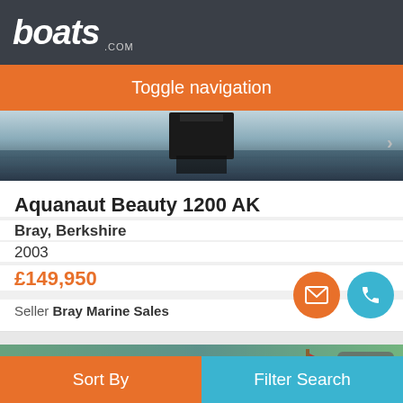boats.com
Toggle navigation
[Figure (photo): Boat hull reflected in dark water, top portion of boat listing image]
Aquanaut Beauty 1200 AK
Bray, Berkshire
2003
£149,950
Seller Bray Marine Sales
[Figure (photo): White cabin cruiser boat moored near green hedges, with photo count badge showing 23]
Sort By
Filter Search